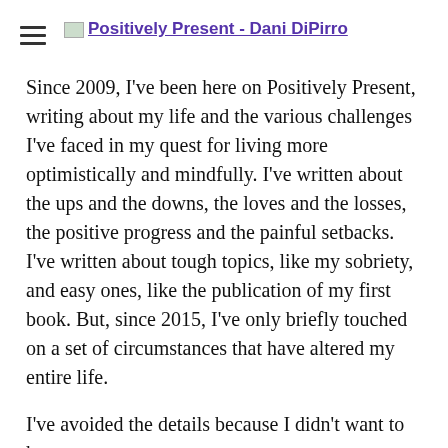Positively Present - Dani DiPirro
Since 2009, I've been here on Positively Present, writing about my life and the various challenges I've faced in my quest for living more optimistically and mindfully. I've written about the ups and the downs, the loves and the losses, the positive progress and the painful setbacks. I've written about tough topics, like my sobriety, and easy ones, like the publication of my first book. But, since 2015, I've only briefly touched on a set of circumstances that have altered my entire life.
I've avoided the details because I didn't want to hurt